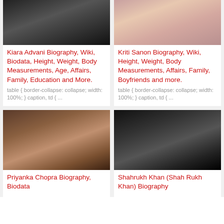[Figure (photo): Black and white photo of Kiara Advani]
Kiara Advani Biography, Wiki, Biodata, Height, Weight, Body Measurements, Age, Affairs, Family, Education and More.
table { border-collapse: collapse; width: 100%; } caption, td { ...
[Figure (photo): Color photo of Kriti Sanon smiling]
Kriti Sanon Biography, Wiki, Height, Weight, Body Measurements, Affairs, Family, Boyfriends and more.
table { border-collapse: collapse; width: 100%; } caption, td { ...
[Figure (photo): Color photo of Priyanka Chopra]
Priyanka Chopra Biography, Biodata
[Figure (photo): Color photo of Shahrukh Khan]
Shahrukh Khan (Shah Rukh Khan) Biography